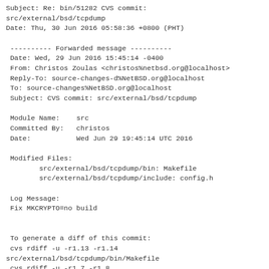Subject: Re: bin/51282 CVS commit: src/external/bsd/tcpdump
Date: Thu, 30 Jun 2016 05:58:36 +0800 (PHT)
---------- Forwarded message ----------
Date: Wed, 29 Jun 2016 15:45:14 -0400
From: Christos Zoulas <christos%netbsd.org@localhost>
Reply-To: source-changes-d%NetBSD.org@localhost
To: source-changes%NetBSD.org@localhost
Subject: CVS commit: src/external/bsd/tcpdump
Module Name:	src
Committed By:	christos
Date:		Wed Jun 29 19:45:14 UTC 2016
Modified Files:
	src/external/bsd/tcpdump/bin: Makefile
	src/external/bsd/tcpdump/include: config.h
Log Message:
Fix MKCRYPTO=no build
To generate a diff of this commit:
 cvs rdiff -u -r1.13 -r1.14
src/external/bsd/tcpdump/bin/Makefile
 cvs rdiff -u -r1.7 -r1.8
src/external/bsd/tcpdump/include/config.h
Please note that diffs are not public domain; they